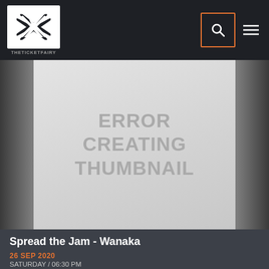TheTicketFairy — navigation bar with logo, search, and menu
[Figure (screenshot): Event thumbnail placeholder showing ERROR CREATING THUMBNAIL text on grey background with dark sidebars]
Spread the Jam - Wanaka
26 SEP 2020
SATURDAY / 06:30 PM